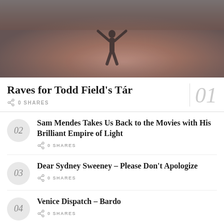[Figure (photo): Dark moody hero image showing a silhouette figure on a stage or similar setting with warm reddish-brown tones]
Raves for Todd Field's Tár
0 SHARES
02 Sam Mendes Takes Us Back to the Movies with His Brilliant Empire of Light
0 SHARES
03 Dear Sydney Sweeney – Please Don't Apologize
0 SHARES
04 Venice Dispatch – Bardo
0 SHARES
Sarah Polley's Women Talking Has a Bold